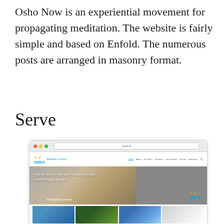Osho Now is an experiential movement for propagating meditation. The website is fairly simple and based on Enfold. The numerous posts are arranged in masonry format.
Serve
[Figure (screenshot): Screenshot of the SERVE (Solidarity in Action) website in a Mac browser window. The site features a header with logo and navigation, a hero banner with coins imagery and text 'Join us and use your small change to create an even bigger change' with hashtag #ChangeForChange, and a grid of images below.]